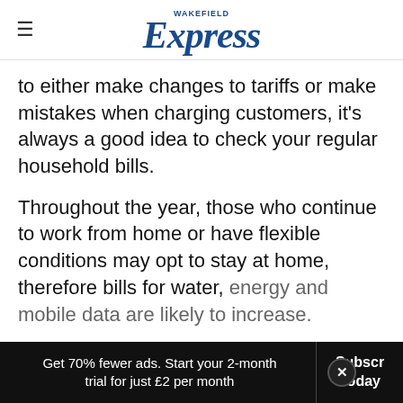Wakefield Express
to either make changes to tariffs or make mistakes when charging customers, it's always a good idea to check your regular household bills.
Throughout the year, those who continue to work from home or have flexible conditions may opt to stay at home, therefore bills for water, energy and mobile data are likely to increase.
Research before choosing a supplier:
Get 70% fewer ads. Start your 2-month trial for just £2 per month
Subscribe Today